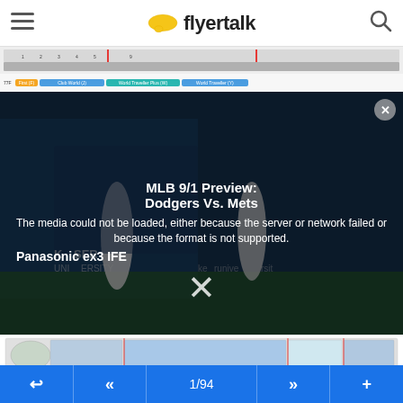flyertalk
[Figure (screenshot): Seat map for an aircraft (77F) showing rows with First, Club World, World Traveller Plus, and World Traveller class sections in color-coded legend bars]
[Figure (screenshot): Video player showing MLB 9/1 Preview: Dodgers Vs. Mets with error message: The media could not be loaded, either because the server or network failed or because the format is not supported. Panasonic ex3 IFE label visible.]
[Figure (screenshot): Seat map for a 77W aircraft showing rows with First, Club World, WTP, and World Traveller class sections in color-coded legend bars]
Three class 777-200
1/94